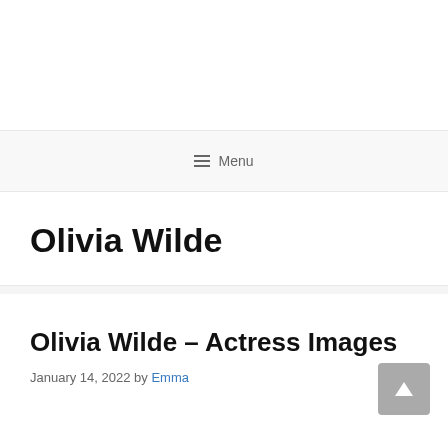Menu
Olivia Wilde
Olivia Wilde – Actress Images
January 14, 2022 by Emma